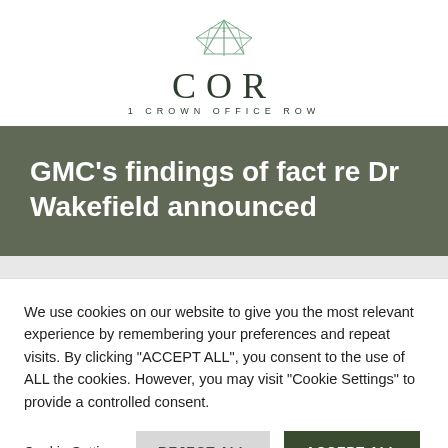[Figure (logo): 1 COR – 1 Crown Office Row logo with geometric crown/star SVG mark above large serif COR letters and spaced subtitle text]
GMC's findings of fact re Dr Wakefield announced
We use cookies on our website to give you the most relevant experience by remembering your preferences and repeat visits. By clicking "ACCEPT ALL", you consent to the use of ALL the cookies. However, you may visit "Cookie Settings" to provide a controlled consent.
Cookie Settings | REJECT ALL | ACCEPT ALL